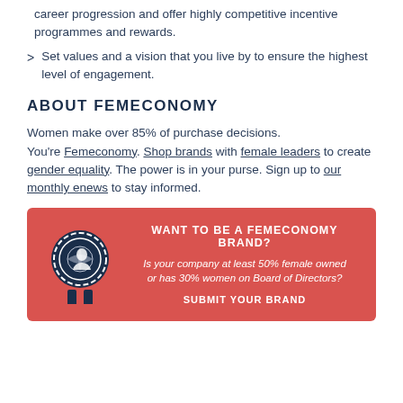career progression and offer highly competitive incentive programmes and rewards.
Set values and a vision that you live by to ensure the highest level of engagement.
ABOUT FEMECONOMY
Women make over 85% of purchase decisions. You're Femeconomy. Shop brands with female leaders to create gender equality. The power is in your purse. Sign up to our monthly enews to stay informed.
[Figure (infographic): Red banner with Femeconomy badge/seal icon on left, text asking 'WANT TO BE A FEMECONOMY BRAND?' with subtext about 50% female owned or 30% women on Board of Directors, and 'SUBMIT YOUR BRAND' call to action button.]